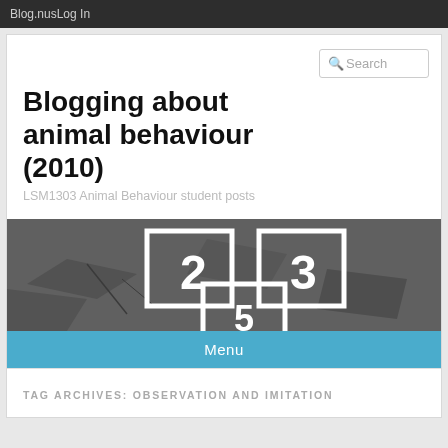Blog.nusLog In
Blogging about animal behaviour (2010)
LSM1303 Animal Behaviour student posts
[Figure (photo): Asphalt surface with white painted squares containing numbers 2 and 3 visible, resembling a hopscotch or numbered grid pattern on pavement.]
Menu
TAG ARCHIVES: OBSERVATION AND IMITATION